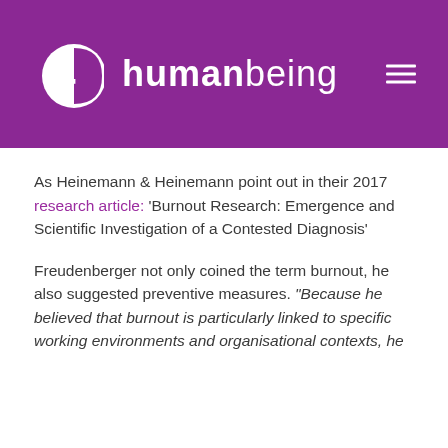[Figure (logo): 4D humanbeing logo on purple background with hamburger menu icon]
As Heinemann & Heinemann point out in their 2017 research article: ‘Burnout Research: Emergence and Scientific Investigation of a Contested Diagnosis’
Freudenberger not only coined the term burnout, he also suggested preventive measures. “Because he believed that burnout is particularly linked to specific working environments and organisational contexts, he